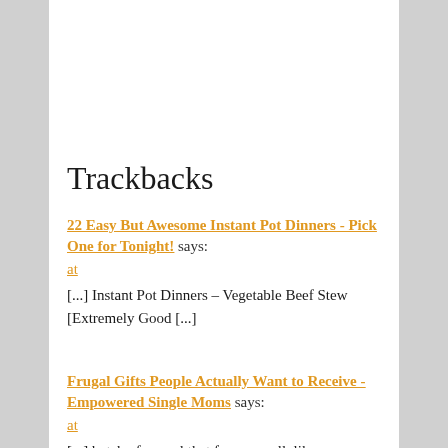Trackbacks
22 Easy But Awesome Instant Pot Dinners - Pick One for Tonight! says:
at
[...] Instant Pot Dinners – Vegetable Beef Stew [Extremely Good [...]
Frugal Gifts People Actually Want to Receive - Empowered Single Moms says:
at
[...] batch of a meal that freezes well, like...